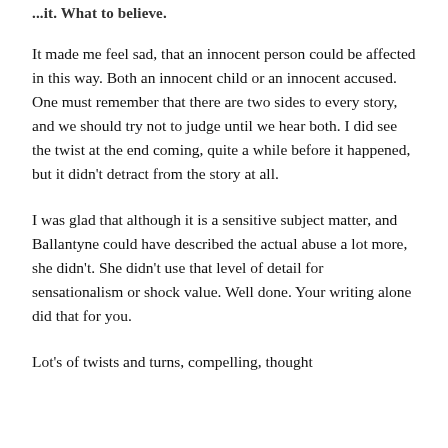...it. What to believe.
It made me feel sad, that an innocent person could be affected in this way. Both an innocent child or an innocent accused. One must remember that there are two sides to every story, and we should try not to judge until we hear both. I did see the twist at the end coming, quite a while before it happened, but it didn't detract from the story at all.
I was glad that although it is a sensitive subject matter, and Ballantyne could have described the actual abuse a lot more, she didn't. She didn't use that level of detail for sensationalism or shock value. Well done. Your writing alone did that for you.
Lot's of twists and turns, compelling, thought